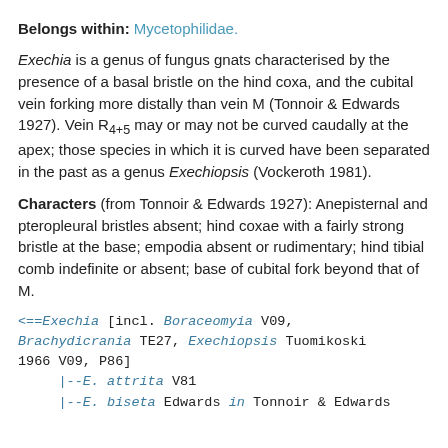Belongs within: Mycetophilidae.
Exechia is a genus of fungus gnats characterised by the presence of a basal bristle on the hind coxa, and the cubital vein forking more distally than vein M (Tonnoir & Edwards 1927). Vein R4+5 may or may not be curved caudally at the apex; those species in which it is curved have been separated in the past as a genus Exechiopsis (Vockeroth 1981).
Characters (from Tonnoir & Edwards 1927): Anepisternal and pteropleural bristles absent; hind coxae with a fairly strong bristle at the base; empodia absent or rudimentary; hind tibial comb indefinite or absent; base of cubital fork beyond that of M.
<==Exechia [incl. Boraceomyia V09, Brachydicrania TE27, Exechiopsis Tuomikoski 1966 V09, P86]
    |--E. attrita V81
    |--E. biseta Edwards in Tonnoir & Edwards